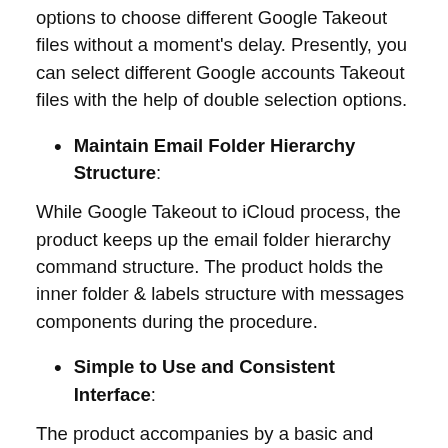options to choose different Google Takeout files without a moment's delay. Presently, you can select different Google accounts Takeout files with the help of double selection options.
Maintain Email Folder Hierarchy Structure:
While Google Takeout to iCloud process, the product keeps up the email folder hierarchy command structure. The product holds the inner folder & labels structure with messages components during the procedure.
Simple to Use and Consistent Interface:
The product accompanies by a basic and simple interface to utilize without any issues. Both specialized and non-specialized clients can comprehend the procedure without direction.